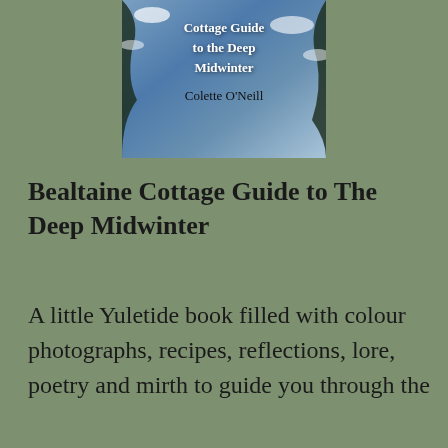[Figure (photo): Book cover of 'Bealtaine Cottage Guide to the Deep Midwinter' by Colette O'Neill, showing a wintry blue scene with snow-covered branches and white serif text on a blue background.]
Bealtaine Cottage Guide to The Deep Midwinter
A little Yuletide book filled with colour photographs, recipes, reflections, lore, poetry and mirth to guide you through the